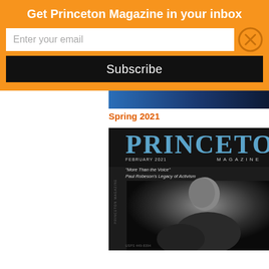Get Princeton Magazine in your inbox
Enter your email
Subscribe
Spring 2021
[Figure (photo): Princeton Magazine February 2021 cover featuring Paul Robeson in black and white portrait with text 'More Than the Voice - Paul Robeson's Legacy of Activism']